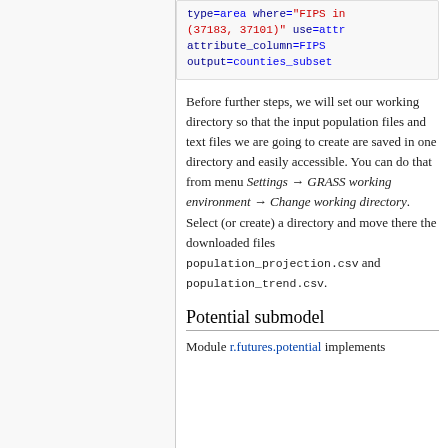type=area where="FIPS in (37183, 37101)" use=attr attribute_column=FIPS output=counties_subset
Before further steps, we will set our working directory so that the input population files and text files we are going to create are saved in one directory and easily accessible. You can do that from menu Settings → GRASS working environment → Change working directory. Select (or create) a directory and move there the downloaded files population_projection.csv and population_trend.csv.
Potential submodel
Module r.futures.potential implements